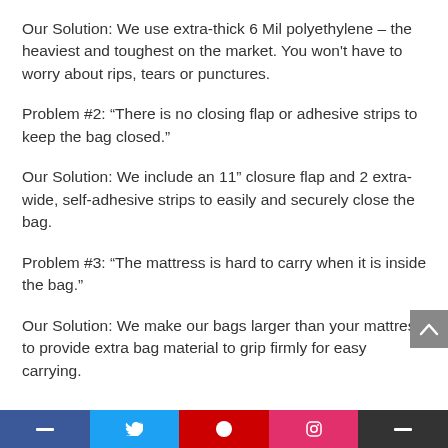Our Solution: We use extra-thick 6 Mil polyethylene – the heaviest and toughest on the market. You won't have to worry about rips, tears or punctures.
Problem #2: “There is no closing flap or adhesive strips to keep the bag closed.”
Our Solution: We include an 11” closure flap and 2 extra-wide, self-adhesive strips to easily and securely close the bag.
Problem #3: “The mattress is hard to carry when it is inside the bag.”
Our Solution: We make our bags larger than your mattress to provide extra bag material to grip firmly for easy carrying.